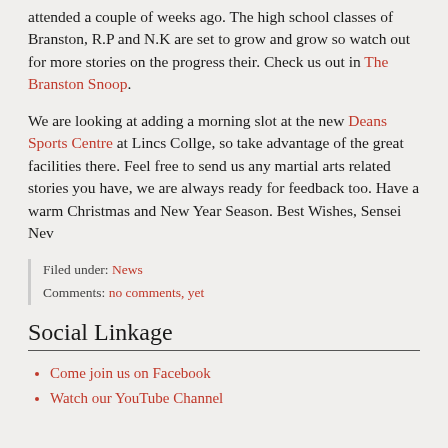attended a couple of weeks ago. The high school classes of Branston, R.P and N.K are set to grow and grow so watch out for more stories on the progress their. Check us out in The Branston Snoop.
We are looking at adding a morning slot at the new Deans Sports Centre at Lincs Collge, so take advantage of the great facilities there. Feel free to send us any martial arts related stories you have, we are always ready for feedback too. Have a warm Christmas and New Year Season. Best Wishes, Sensei Nev
Filed under: News
Comments: no comments, yet
Social Linkage
Come join us on Facebook
Watch our YouTube Channel